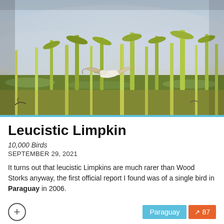[Figure (photo): A bird (Limpkin) in flight over a wetland marsh with tall green reeds and grasses, misty sky background with soft golden and green tones.]
Leucistic Limpkin
10,000 Birds
SEPTEMBER 29, 2021
It turns out that leucistic Limpkins are much rarer than Wood Storks anyway, the first official report I found was of a single bird in Paraguay in 2006.
Paraguay  87